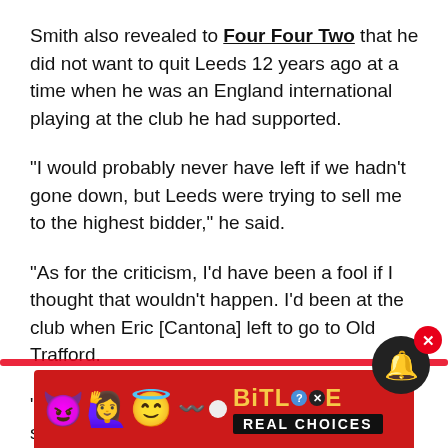Smith also revealed to Four Four Two that he did not want to quit Leeds 12 years ago at a time when he was an England international playing at the club he had supported.
"I would probably never have left if we hadn't gone down, but Leeds were trying to sell me to the highest bidder," he said.
"As for the criticism, I'd have been a fool if I thought that wouldn't happen. I'd been at the club when Eric [Cantona] left to go to Old Trafford.
"I was ball boy the day he came back and scored at the [Elland Road] Kop and saw the feelings that da...
[Figure (screenshot): Advertisement banner for BitLife mobile game with emoji characters (devil, girl, angel emoji), snake graphic, and text 'REAL CHOICES']